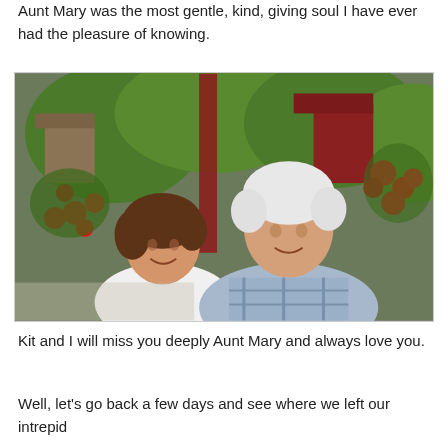Aunt Mary was the most gentle, kind, giving soul I have ever had the pleasure of knowing.
[Figure (photo): An elderly couple smiling outdoors in front of red flowers and green foliage. The woman on the left has short brown hair and wears a white top; the man on the right has white hair and wears a blue plaid shirt.]
Kit and I will miss you deeply Aunt Mary and always love you.
Well, let's go back a few days and see where we left our intrepid